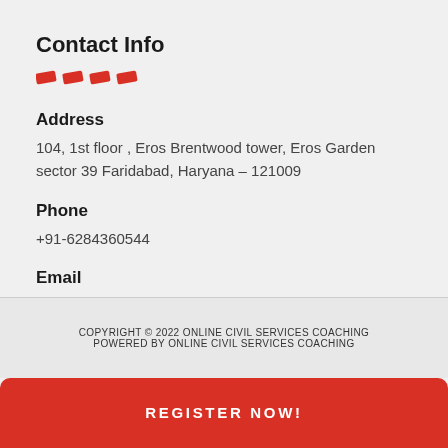Contact Info
[Figure (illustration): Four red diagonal dash/stripe decorative elements]
Address
104, 1st floor , Eros Brentwood tower, Eros Garden sector 39 Faridabad, Haryana – 121009
Phone
+91-6284360544
Email
info@sukritam.com
COPYRIGHT © 2022 ONLINE CIVIL SERVICES COACHING
POWERED BY ONLINE CIVIL SERVICES COACHING
REGISTER NOW!